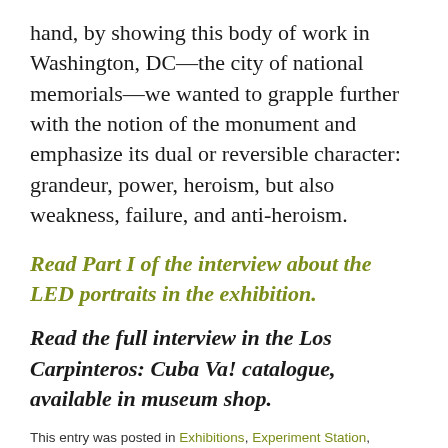hand, by showing this body of work in Washington, DC—the city of national memorials—we wanted to grapple further with the notion of the monument and emphasize its dual or reversible character: grandeur, power, heroism, but also weakness, failure, and anti-heroism.
Read Part I of the interview about the LED portraits in the exhibition.
Read the full interview in the Los Carpinteros: Cuba Va! catalogue, available in museum shop.
This entry was posted in Exhibitions, Experiment Station, Intersections. Bookmark the permalink.
← In Conversation with Los Carpinteros (Part I)
Creative Aging: A Magic Place